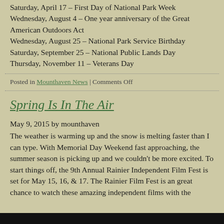Saturday, April 17 – First Day of National Park Week
Wednesday, August 4 – One year anniversary of the Great American Outdoors Act
Wednesday, August 25 – National Park Service Birthday
Saturday, September 25 – National Public Lands Day
Thursday, November 11 – Veterans Day
Posted in Mounthaven News | Comments Off
Spring Is In The Air
May 9, 2015 by mounthaven
The weather is warming up and the snow is melting faster than I can type. With Memorial Day Weekend fast approaching, the summer season is picking up and we couldn't be more excited. To start things off, the 9th Annual Rainier Independent Film Fest is set for May 15, 16, & 17. The Rainier Film Fest is an great chance to watch these amazing independent films with the